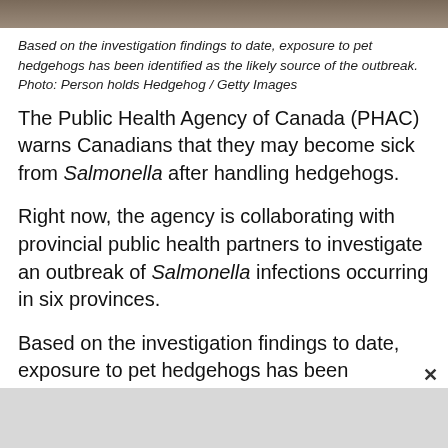[Figure (photo): Top strip of a photo showing a person holding a hedgehog]
Based on the investigation findings to date, exposure to pet hedgehogs has been identified as the likely source of the outbreak. Photo: Person holds Hedgehog / Getty Images
The Public Health Agency of Canada (PHAC) warns Canadians that they may become sick from Salmonella after handling hedgehogs.
Right now, the agency is collaborating with provincial public health partners to investigate an outbreak of Salmonella infections occurring in six provinces.
Based on the investigation findings to date, exposure to pet hedgehogs has been identified as the likely source of the outbreak. Many of the individuals who became sick reported having direct or indirect contact with hedgehogs before the